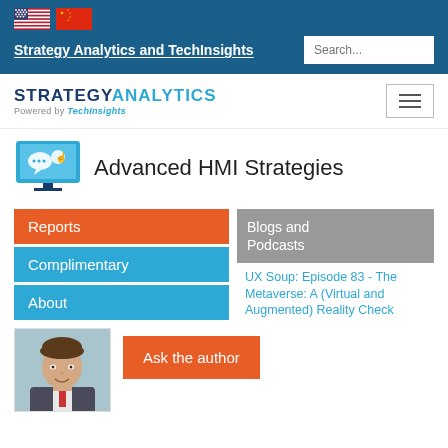Strategy Analytics and TechInsights
[Figure (logo): Strategy Analytics powered by TechInsights logo]
Advanced HMI Strategies
Reports
Complimentary
About
Blogs and Podcasts
UX Soup: Episode 83 - The Metaverse: A (Virtual and Augmented) Reality Check
[Figure (photo): Author headshot photo - young man in suit]
Ask the author